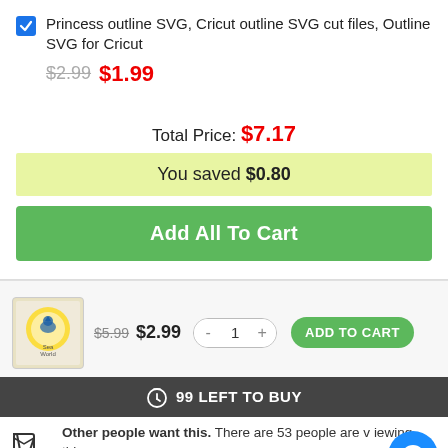Princess outline SVG, Cricut outline SVG cut files, Outline SVG for Cricut
$2.99  $1.99
Total Price: $7.17
You saved $0.80
Add All To Cart
$5.99  $2.99  - 1 +  ADD TO CART
99 LEFT TO BUY
Other people want this. There are 53 people are viewing this.